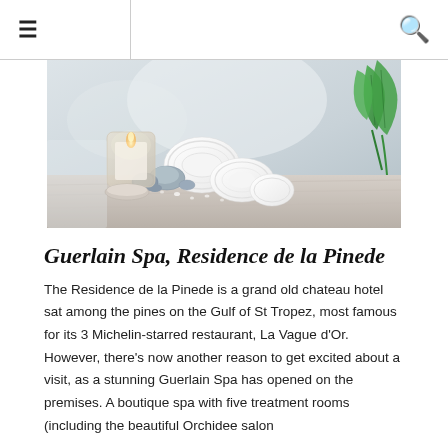≡  🔍
[Figure (photo): Spa setting with rolled white towels, smooth grey stones, a lit candle in a glass holder, and green tropical leaves on a light wooden surface.]
Guerlain Spa, Residence de la Pinede
The Residence de la Pinede is a grand old chateau hotel sat among the pines on the Gulf of St Tropez, most famous for its 3 Michelin-starred restaurant, La Vague d'Or. However, there's now another reason to get excited about a visit, as a stunning Guerlain Spa has opened on the premises. A boutique spa with five treatment rooms (including the beautiful Orchidee salon